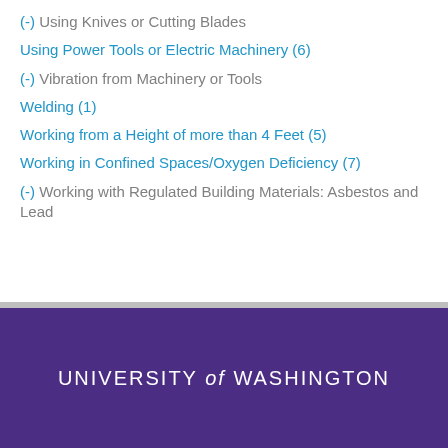(-) Using Knives or Cutting Blades
Using Power Tools or Electric Machinery (6)
(-) Vibration from Machinery or Tools
Welding (1)
Working from a Height of more than 4 Feet (5)
Working in Confined Spaces/Oxygen Deficiency (7)
(-) Working with Regulated Building Materials: Asbestos and Lead
UNIVERSITY of WASHINGTON